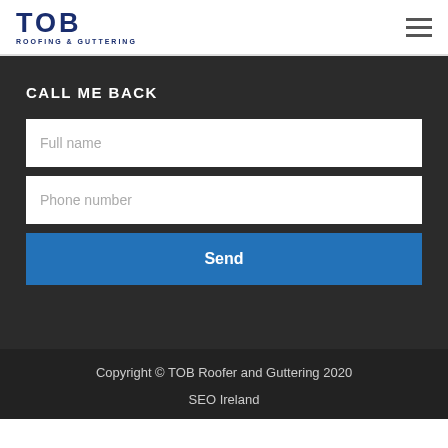[Figure (logo): TOB Roofing & Guttering logo — bold navy blue text 'TOB' with 'ROOFING & GUTTERING' subtitle below]
CALL ME BACK
Full name
Phone number
Send
Copyright © TOB Roofer and Guttering 2020
SEO Ireland